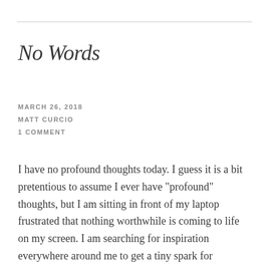No Words
MARCH 26, 2018
MATT CURCIO
1 COMMENT
I have no profound thoughts today. I guess it is a bit pretentious to assume I ever have "profound" thoughts, but I am sitting in front of my laptop frustrated that nothing worthwhile is coming to life on my screen. I am searching for inspiration everywhere around me to get a tiny spark for something [...]